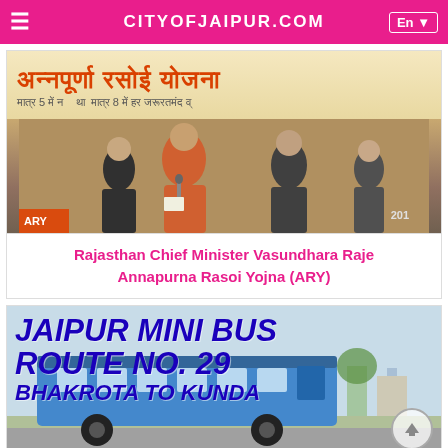CITYOFJAIPUR.COM
[Figure (photo): Photo of Rajasthan Chief Minister Vasundhara Raje speaking at Annapurna Rasoi Yojna event, with Hindi text banner in background]
Rajasthan Chief Minister Vasundhara Raje Annapurna Rasoi Yojna (ARY)
[Figure (photo): Jaipur Mini Bus Route No. 29 Bhakrota to Kunda promotional image with blue bold text overlay on bus photo]